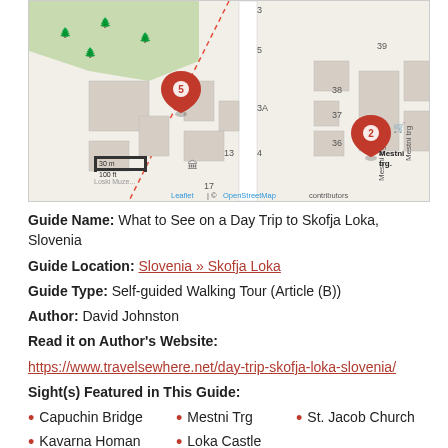[Figure (map): Street map of Skofja Loka, Slovenia showing numbered location markers (2 and 5). Marker 5 is on the left side near a museum icon, marker 2 is on the right side near Mestni trg. Map includes scale bar showing 30m / 100ft, street names including Mestni trg, building footprints, and green park area. Attribution: Leaflet | © OpenStreetMap contributors.]
Guide Name: What to See on a Day Trip to Skofja Loka, Slovenia
Guide Location: Slovenia » Skofja Loka
Guide Type: Self-guided Walking Tour (Article (B))
Author: David Johnston
Read it on Author's Website:
https://www.travelsewhere.net/day-trip-skofja-loka-slovenia/
Sight(s) Featured in This Guide:
Capuchin Bridge
Mestni Trg
St. Jacob Church
Kavarna Homan
Loka Castle